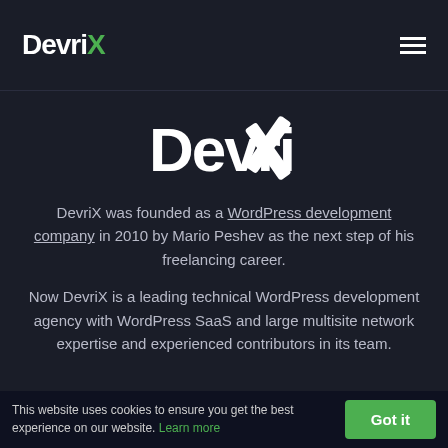DevriX [logo] hamburger menu
[Figure (logo): DevriX logo in white with a white X made of two crossing rectangles, centered on dark background]
DevriX was founded as a WordPress development company in 2010 by Mario Peshev as the next step of his freelancing career.
Now DevriX is a leading technical WordPress development agency with WordPress SaaS and large multisite network expertise and experienced contributors in its team.
This website uses cookies to ensure you get the best experience on our website. Learn more Got it